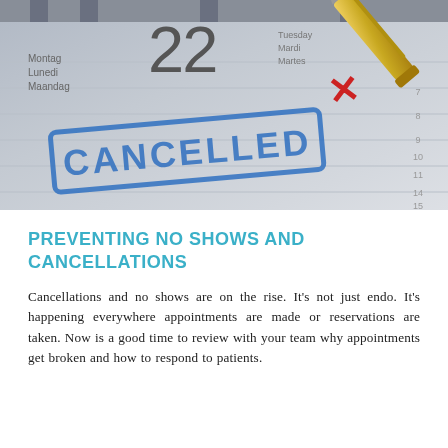[Figure (photo): A close-up photo of a calendar page showing the number 22, with a blue 'CANCELLED' rubber stamp impression, a red X mark, and a gold pen in the upper right corner.]
PREVENTING NO SHOWS AND CANCELLATIONS
Cancellations and no shows are on the rise. It's not just endo. It's happening everywhere appointments are made or reservations are taken. Now is a good time to review with your team why appointments get broken and how to respond to patients.